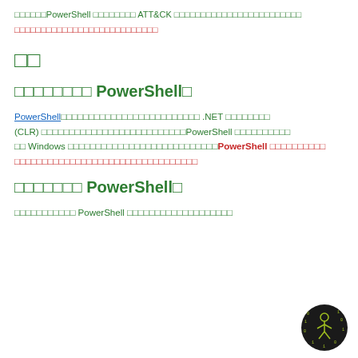□□□□□□PowerShell □□□□□□□□ ATT&CK □□□□□□□□□□□□□□□□□□□□□□□□□□□□□□□□□□□□□□□□□□□□□□□□
□□
□□□□□□□□ PowerShell□
PowerShell□□□□□□□□□□□□□□□□□□□□□□□□□□ .NET □□□□□□□□ (CLR) □□□□□□□□□□□□□□□□□□□□□□□□□□□PowerShell □□□□□□□□□□ Windows □□□□□□□□□□□□□□□□□□□□□□□□□□□PowerShell □□□□□□□□□□□□□□□□□□□□□□□□□□□□□□□□□□□□□
□□□□□□□ PowerShell□
□□□□□□□□□□□ PowerShell □□□□□□□□□□□□□□□□□□□
[Figure (logo): Dark circular logo with green circuit/figure icon and binary digits]